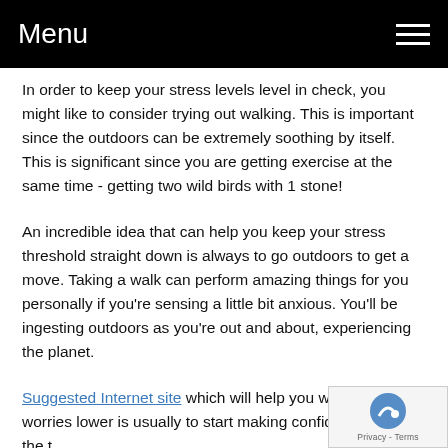Menu
In order to keep your stress levels level in check, you might like to consider trying out walking. This is important since the outdoors can be extremely soothing by itself. This is significant since you are getting exercise at the same time - getting two wild birds with 1 stone!
An incredible idea that can help you keep your stress threshold straight down is always to go outdoors to get a move. Taking a walk can perform amazing things for you personally if you're sensing a little bit anxious. You'll be ingesting outdoors as you're out and about, experiencing the planet.
Suggested Internet site which will help you will get your worries lower is usually to start making confident you have the t... reach spots. There's practically view publisher site than d... late to work or perhaps to a significant conference. Making sure